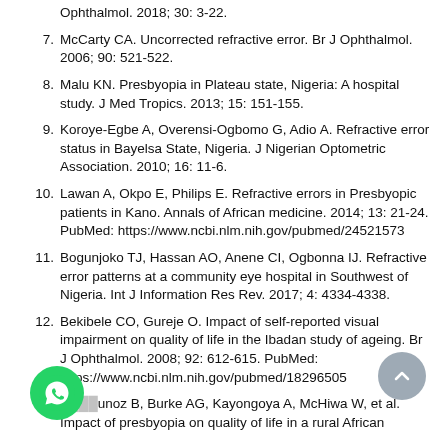Ophthalmol. 2018; 30: 3-22.
7. McCarty CA. Uncorrected refractive error. Br J Ophthalmol. 2006; 90: 521-522.
8. Malu KN. Presbyopia in Plateau state, Nigeria: A hospital study. J Med Tropics. 2013; 15: 151-155.
9. Koroye-Egbe A, Overensi-Ogbomo G, Adio A. Refractive error status in Bayelsa State, Nigeria. J Nigerian Optometric Association. 2010; 16: 11-6.
10. Lawan A, Okpo E, Philips E. Refractive errors in Presbyopic patients in Kano. Annals of African medicine. 2014; 13: 21-24. PubMed: https://www.ncbi.nlm.nih.gov/pubmed/24521573
11. Bogunjoko TJ, Hassan AO, Anene CI, Ogbonna IJ. Refractive error patterns at a community eye hospital in Southwest of Nigeria. Int J Information Res Rev. 2017; 4: 4334-4338.
12. Bekibele CO, Gureje O. Impact of self-reported visual impairment on quality of life in the Ibadan study of ageing. Br J Ophthalmol. 2008; 92: 612-615. PubMed: https://www.ncbi.nlm.nih.gov/pubmed/18296505
13. P[...] Munoz B, Burke AG, Kayongoya A, McHiwa W, et al. Impact of presbyopia on quality of life in a rural African